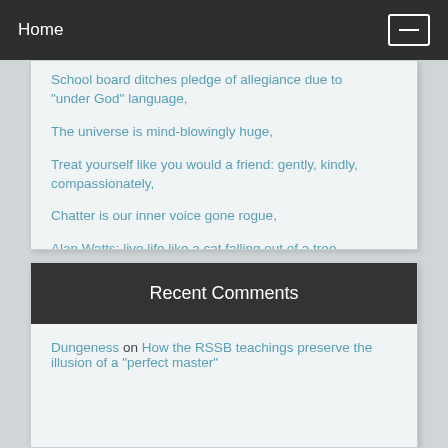Home
School board ditches pledge of allegiance due to "under God" language,
The universe is mind-blowingly huge,
Treat yourself like you would a friend: gently, kindly, compassionately,
Chatter is our inner voice gone rogue,
Alan Watts: live life like a cat falling out of a tree
Recent Comments
Dungeness on How the RSSB teachings preserve the illusion of a "perfect master"